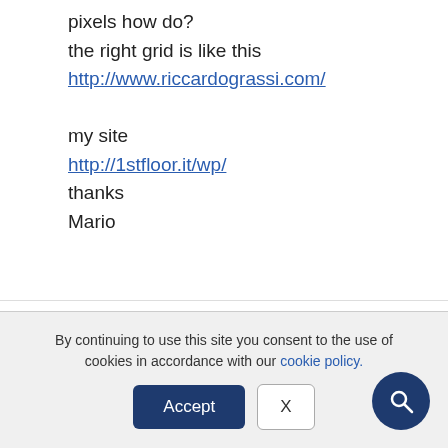pixels how do?
the right grid is like this
http://www.riccardograssi.com/

my site
http://1stfloor.it/wp/
thanks
Mario
Nicolas
10 July 2015, 8 h 29 min
By continuing to use this site you consent to the use of cookies in accordance with our cookie policy.